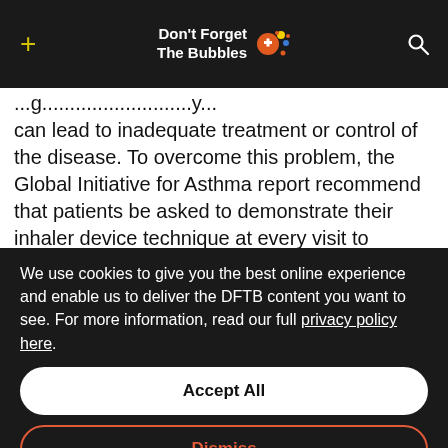Don't Forget The Bubbles
can lead to inadequate treatment or control of the disease. To overcome this problem, the Global Initiative for Asthma report recommend that patients be asked to demonstrate their inhaler device technique at every visit to enable improper use to be corrected and ongoing use technique to be monitored. Unfortunately, many healthcare professionals who are charged with providing instruction and monitoring
We use cookies to give you the best online experience and enable us to deliver the DFTB content you want to see. For more information, read our full privacy policy here.
Accept All
Dismiss